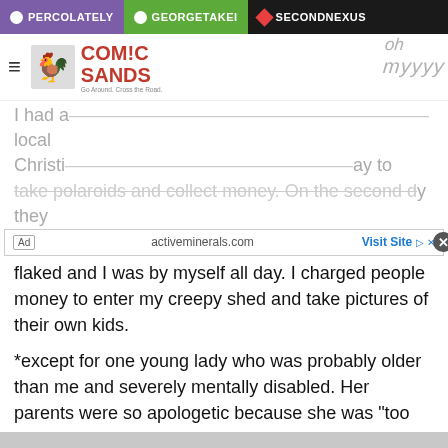PERCOLATELY | GEORGETAKEI | SECONDNEXUS
[Figure (logo): Comic Sands website logo with rooster image]
[Figure (screenshot): Ad banner: activeminerals.com - Visit Site]
I had a local Christi... ay to take polaroids and collect money. On the second day they flaked and I was by myself all day. I charged people money to enter my creepy shed and take pictures of their own kids.
*except for one young lady who was probably older than me and severely mentally disabled. Her parents were so apologetic because she was "too old" but she sat on my lap and smiled at me with total naked joy. I can still see her face 20 years later.
witch_and_famous
Right in the feels.